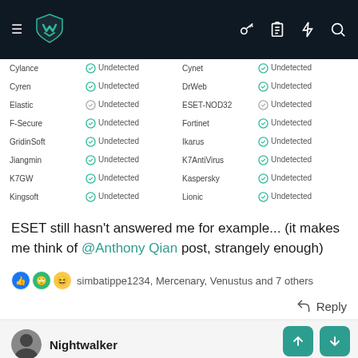[Figure (screenshot): Dark navigation header bar with hamburger menu, teal shield/logo icon, and right-side icons (key, clipboard, lightning, search)]
| Cylance | Undetected | Cynet | Undetected |
| Cyren | Undetected | DrWeb | Undetected |
| Elastic | Undetected | ESET-NOD32 | Undetected |
| F-Secure | Undetected | Fortinet | Undetected |
| GridinSoft | Undetected | Ikarus | Undetected |
| Jiangmin | Undetected | K7AntiVirus | Undetected |
| K7GW | Undetected | Kaspersky | Undetected |
| Kingsoft | Undetected | Lionic | Undetected |
ESET still hasn't answered me for example... (it makes me think of @Anthony Qian post, strangely enough)
simbatippe1234, Mercenary, Venustus and 7 others
Reply
Nightwalker